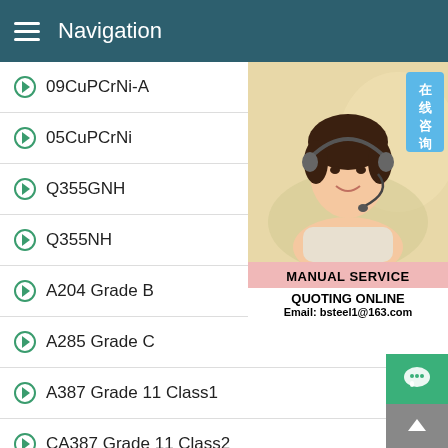Navigation
09CuPCrNi-A
05CuPCrNi
Q355GNH
Q355NH
A204 Grade B
A285 Grade C
A387 Grade 11 Class1
CA387 Grade 11 Class2
A387 Grade 12 Class1
BUILDING-LIKE SAND-MAKER
A387 Grade 12 Class2
[Figure (photo): Customer service representative wearing headset, with Chinese text badge '在线咨询' (Online Consultation), MANUAL SERVICE and QUOTING ONLINE text, email bsteel1@163.com]